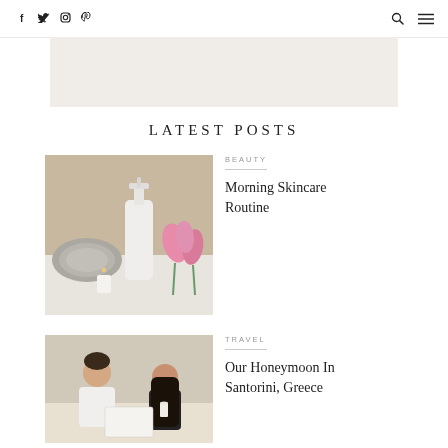Social icons: Facebook, Twitter, Instagram, Pinterest | Search | Menu
[Figure (illustration): Light beige/gray hero banner placeholder area]
LATEST POSTS
[Figure (photo): Beauty skincare photo: white pump bottle, rolled gray towel, pink tulips, white candle on a light surface with beige background]
BEAUTY
Morning Skincare Routine
[Figure (photo): Travel photo: man and woman sitting at a table, smiling, with a document and candle on the table]
TRAVEL
Our Honeymoon In Santorini, Greece